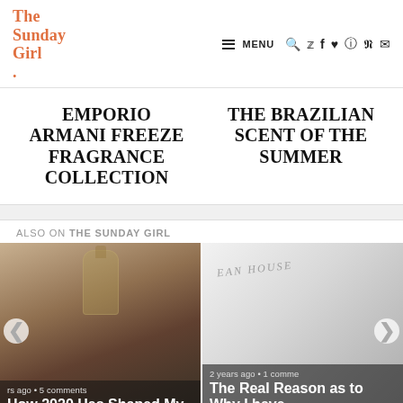The Sunday Girl. — MENU (nav icons)
EMPORIO ARMANI FREEZE FRAGRANCE COLLECTION
THE BRAZILIAN SCENT OF THE SUMMER
ALSO ON THE SUNDAY GIRL
[Figure (photo): Close-up photo of perfume bottles, dark moody background. Caption: 'How 2020 Has Shaped My...' with metadata 'rs ago • 5 comments']
[Figure (photo): Light grey/white photo showing a product with 'EAN HOUSE' text visible. Caption: 'The Real Reason as to Why I have...' with metadata '2 years ago • 1 comme']